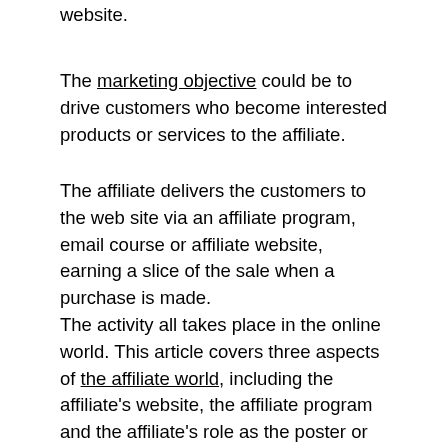website.
The marketing objective could be to drive customers who become interested products or services to the affiliate.
The affiliate delivers the customers to the web site via an affiliate program, email course or affiliate website, earning a slice of the sale when a purchase is made.
The activity all takes place in the online world. This article covers three aspects of the affiliate world, including the affiliate's website, the affiliate program and the affiliate's role as the poster or writer of advertisements.
We'll look at each of these aspects now:
Website:
This is the virtual location of the affiliate. It is important for